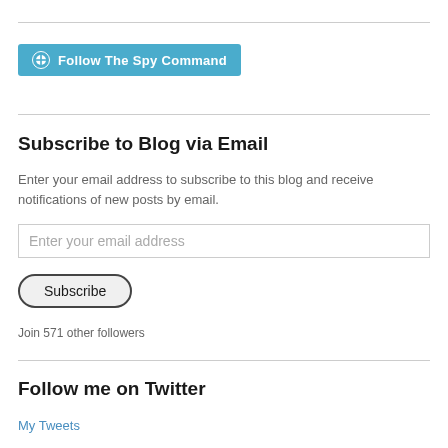[Figure (other): WordPress Follow button — teal/blue rounded rectangle with WordPress logo icon and text 'Follow The Spy Command']
Subscribe to Blog via Email
Enter your email address to subscribe to this blog and receive notifications of new posts by email.
[Figure (other): Email input field with placeholder text 'Enter your email address']
[Figure (other): Subscribe button with rounded pill shape and dark border]
Join 571 other followers
Follow me on Twitter
My Tweets